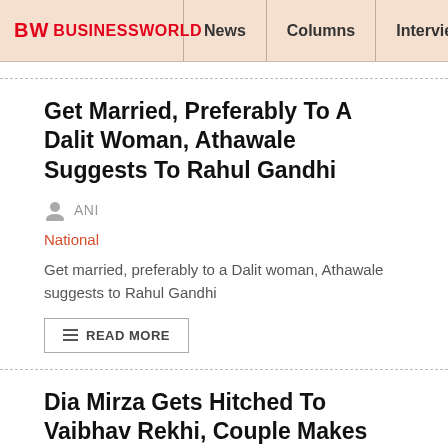BW BUSINESSWORLD | News | Columns | Interviews | BW
Get Married, Preferably To A Dalit Woman, Athawale Suggests To Rahul Gandhi
ANI
National
Get married, preferably to a Dalit woman, Athawale suggests to Rahul Gandhi
READ MORE
Dia Mirza Gets Hitched To Vaibhav Rekhi, Couple Makes First Post-Wedding Appearance
ANI